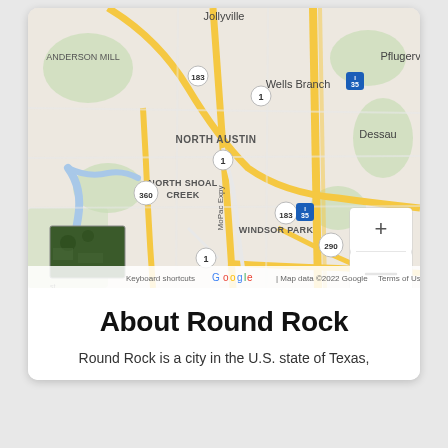[Figure (map): Google Map showing North Austin area including Jollyville, Anderson Mill, Wells Branch, Pflugerville, Dessau, North Austin, North Shoal Creek, Windsor Park, and surrounding roads including highways 183, 35, 290, 360, 1 and MoPac Expy. Map data ©2022 Google.]
About Round Rock
Round Rock is a city in the U.S. state of Texas,